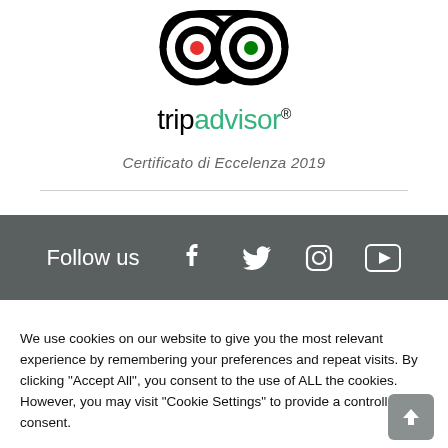[Figure (logo): TripAdvisor owl logo with two circles (eyes), red dot in left eye, green dot in right eye, black owl face design]
tripadvisor®
Certificato di Eccelenza 2019
Follow us
[Figure (infographic): Social media icons: Facebook, Twitter, Instagram, YouTube — white icons on dark grey bar]
We use cookies on our website to give you the most relevant experience by remembering your preferences and repeat visits. By clicking "Accept All", you consent to the use of ALL the cookies. However, you may visit "Cookie Settings" to provide a controlled consent.
Cookie Settings
Accept All